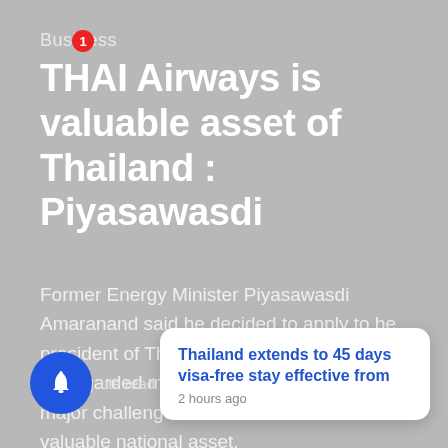Business
THAI Airways is valuable asset of Thailand : Piyasawasdi
Former Energy Minister Piyasawasdi Amaranand said he decided to apply to be president of Thai Airways International as he regarded managing the airlineas as a major challenge and considered it to be a valuable national asset.
Thailand extends to 45 days visa-free stay effective from
2 hours ago